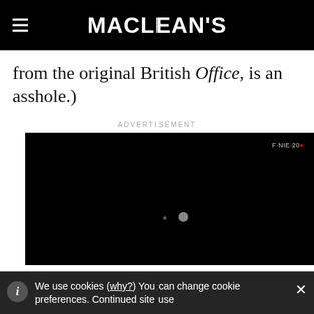MACLEAN'S
from the original British Office, is an asshole.)
ADVERTISEMENT
[Figure (screenshot): Black advertisement video player block with a small watermark text in the upper right and two dots in the center area suggesting a loading spinner.]
We use cookies (why?) You can change cookie preferences. Continued site use